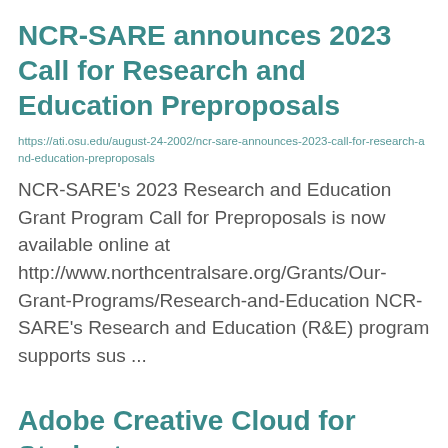NCR-SARE announces 2023 Call for Research and Education Preproposals
https://ati.osu.edu/august-24-2002/ncr-sare-announces-2023-call-for-research-and-education-preproposals
NCR-SARE's 2023 Research and Education Grant Program Call for Preproposals is now available online at http://www.northcentralsare.org/Grants/Our-Grant-Programs/Research-and-Education NCR-SARE's Research and Education (R&E) program supports sus ...
Adobe Creative Cloud for Students...